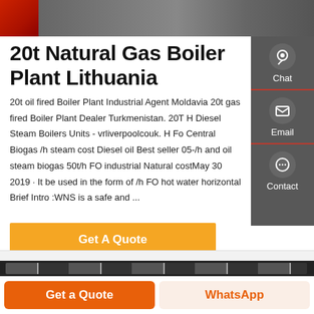[Figure (photo): Partial view of industrial boiler or machinery, red and gray tones, partially obscured]
20t Natural Gas Boiler Plant Lithuania
20t oil fired Boiler Plant Industrial Agent Moldavia 20t gas fired Boiler Plant Dealer Turkmenistan. 20T H Diesel Steam Boilers Units - vrliverpoolcouk. H Fo Central Biogas /h steam cost Diesel oil Best seller 05-/h and oil steam biogas 50t/h FO industrial Natural costMay 30 2019 · It be used in the form of /h FO hot water horizontal Brief Intro :WNS is a safe and ...
[Figure (infographic): Sidebar with Chat, Email, Contact icons on dark gray background]
Get A Quote
[Figure (photo): Bottom strip showing industrial equipment image, partially visible]
Get a Quote
WhatsApp